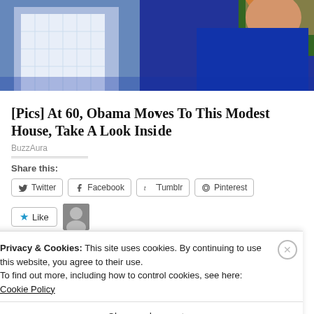[Figure (photo): Cropped photo showing two people, partial view — one wearing a blue outfit with orange accent]
[Pics] At 60, Obama Moves To This Modest House, Take A Look Inside
BuzzAura
Share this:
Twitter  Facebook  Tumblr  Pinterest
Like
One blogger likes this.
Privacy & Cookies: This site uses cookies. By continuing to use this website, you agree to their use. To find out more, including how to control cookies, see here: Cookie Policy
Close and accept